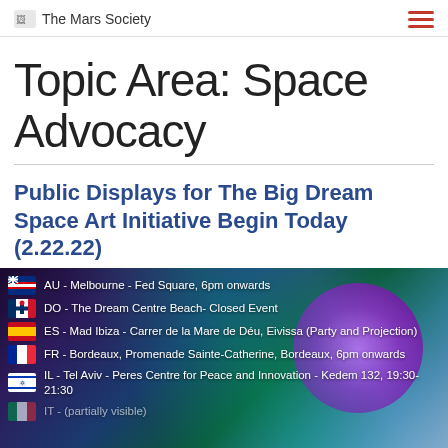The Mars Society
Topic Area: Space Advocacy
Public Displays for The Big Dream Space Art Initiative Begin Today (2.22.22)
[Figure (infographic): Event listing image with space/galaxy background showing a purple planet and aurora-like colors, listing events with country flags: AU - Melbourne - Fed Square, 6pm onwards; DO - The Dream Centre Beach- Closed Event; ES - Mad Ibiza - Carrer de la Mare de Déu, Eivissa (Party and Projection); FR - Bordeaux, Promenade Sainte-Catherine, Bordeaux, 6pm onwards; IL - Tel Aviv - Peres Centre for Peace and Innovation - Kedem 132, 19:30-21:30; (partly cut off)]